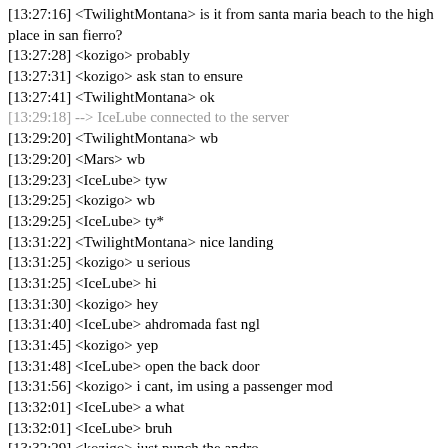[13:27:16] <TwilightMontana> is it from santa maria beach to the high place in san fierro?
[13:27:28] <kozigo> probably
[13:27:31] <kozigo> ask stan to ensure
[13:27:41] <TwilightMontana> ok
[13:29:18] --> IceLube connected to the server
[13:29:20] <TwilightMontana> wb
[13:29:20] <Mars> wb
[13:29:23] <IceLube> tyw
[13:29:25] <kozigo> wb
[13:29:25] <IceLube> ty*
[13:31:22] <TwilightMontana> nice landing
[13:31:25] <kozigo> u serious
[13:31:25] <IceLube> hi
[13:31:30] <kozigo> hey
[13:31:40] <IceLube> ahdromada fast ngl
[13:31:45] <kozigo> yep
[13:31:48] <IceLube> open the back door
[13:31:56] <kozigo> i cant, im using a passenger mod
[13:32:01] <IceLube> a what
[13:32:01] <IceLube> bruh
[13:32:29] <kozigo> just punch the andro
[13:32:36] <IceLube> what airline you in
[13:32:39] <IceLube> that has this color
[13:32:41] <IceLube> or is it yours
[13:32:41] ...